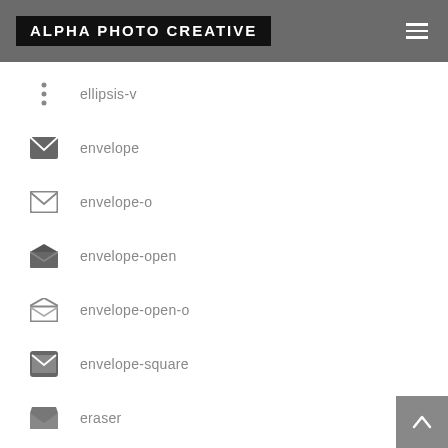ALPHA PHOTO CREATIVE
ellipsis-v
envelope
envelope-o
envelope-open
envelope-open-o
envelope-square
eraser